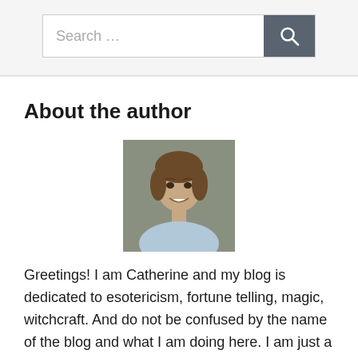[Figure (other): Search bar with text input field showing 'Search ...' placeholder and a dark gray search button with magnifying glass icon]
About the author
[Figure (photo): Headshot photo of a young woman with brown hair, smiling, against a gray background]
Greetings! I am Catherine and my blog is dedicated to esotericism, fortune telling, magic, witchcraft. And do not be confused by the name of the blog and what I am doing here. I am just a guide between you and the